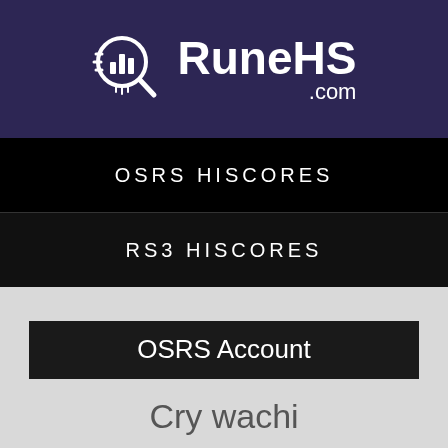[Figure (logo): RuneHS.com logo with magnifying glass icon containing bar chart, white text on dark purple background]
OSRS HISCORES
RS3 HISCORES
OSRS Account
Cry wachi